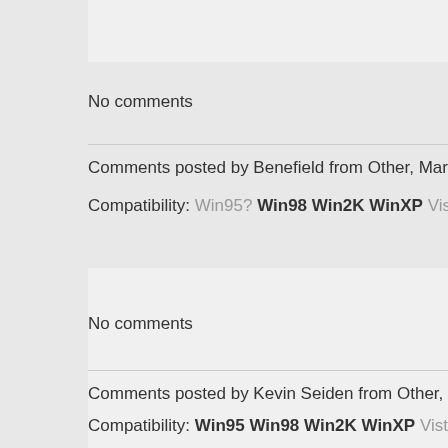No comments
Comments posted by Benefield from Other, March 03,
Compatibility: Win95? Win98 Win2K WinXP Vista? NT4 MAC Linux
No comments
Comments posted by Kevin Seiden from Other, March
Compatibility: Win95 Win98 Win2K WinXP Vista? NT4 MAC Linux